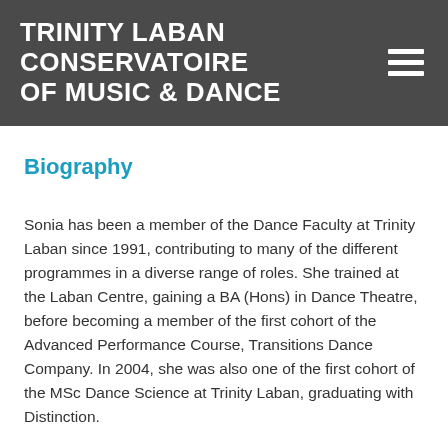TRINITY LABAN CONSERVATOIRE OF MUSIC & DANCE
Biography
Sonia has been a member of the Dance Faculty at Trinity Laban since 1991, contributing to many of the different programmes in a diverse range of roles. She trained at the Laban Centre, gaining a BA (Hons) in Dance Theatre, before becoming a member of the first cohort of the Advanced Performance Course, Transitions Dance Company. In 2004, she was also one of the first cohort of the MSc Dance Science at Trinity Laban, graduating with Distinction.